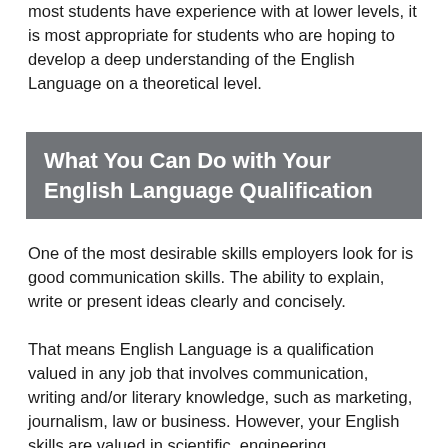most students have experience with at lower levels, it is most appropriate for students who are hoping to develop a deep understanding of the English Language on a theoretical level.
What You Can Do with Your English Language Qualification
One of the most desirable skills employers look for is good communication skills. The ability to explain, write or present ideas clearly and concisely.
That means English Language is a qualification valued in any job that involves communication, writing and/or literary knowledge, such as marketing, journalism, law or business. However, your English skills are valued in scientific, engineering, technological and mathematical careers too. This is because writing proposals,